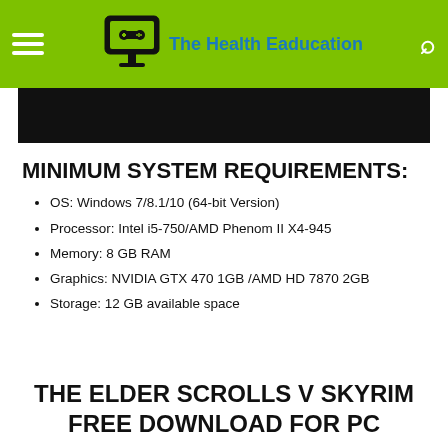The Health Eaducation
[Figure (other): Black banner/image placeholder]
MINIMUM SYSTEM REQUIREMENTS:
OS: Windows 7/8.1/10 (64-bit Version)
Processor: Intel i5-750/AMD Phenom II X4-945
Memory: 8 GB RAM
Graphics: NVIDIA GTX 470 1GB /AMD HD 7870 2GB
Storage: 12 GB available space
THE ELDER SCROLLS V SKYRIM FREE DOWNLOAD FOR PC